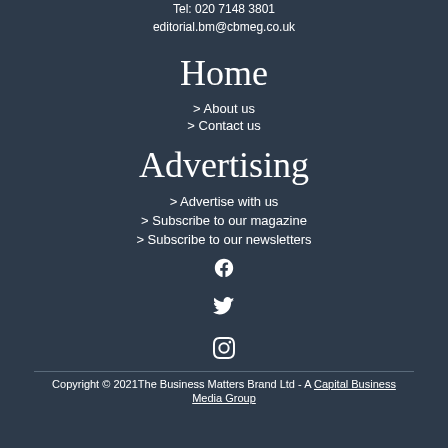Tel: 020 7148 3801
editorial.bm@cbmeg.co.uk
Home
> About us
> Contact us
Advertising
> Advertise with us
> Subscribe to our magazine
> Subscribe to our newsletters
[Figure (illustration): Facebook icon]
[Figure (illustration): Twitter icon]
[Figure (illustration): Instagram icon]
Copyright © 2021The Business Matters Brand Ltd - A Capital Business Media Group